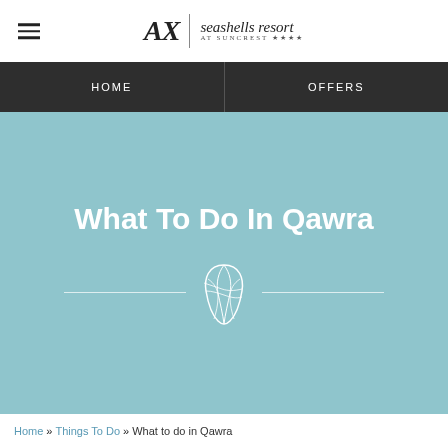[Figure (logo): AX Seashells Resort at Suncrest logo with hamburger menu icon on the left]
HOME | OFFERS
What To Do In Qawra
[Figure (illustration): Decorative seashell/conch outline illustration with horizontal divider lines on either side]
Home » Things To Do » What to do in Qawra